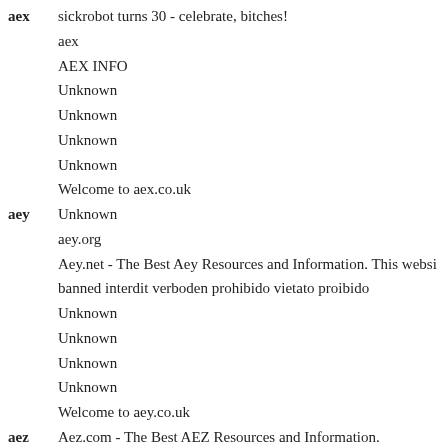aex   sickrobot turns 30 - celebrate, bitches!
aex
AEX INFO
Unknown
Unknown
Unknown
Unknown
Welcome to aex.co.uk
aey   Unknown
aey.org
Aey.net - The Best Aey Resources and Information. This websi
banned interdit verboden prohibido vietato proibido
Unknown
Unknown
Unknown
Unknown
Welcome to aey.co.uk
aez   Aez.com - The Best AEZ Resources and Information.
aez.org
banned interdit verboden prohibido vietato proibido